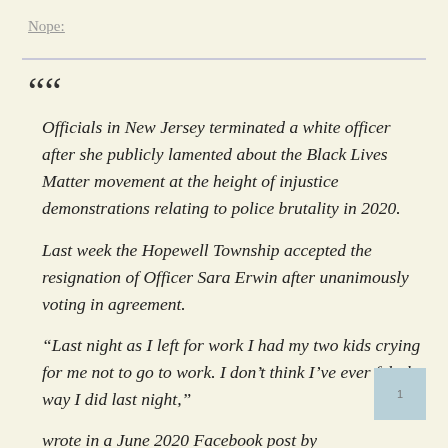Nope:
Officials in New Jersey terminated a white officer after she publicly lamented about the Black Lives Matter movement at the height of injustice demonstrations relating to police brutality in 2020.

Last week the Hopewell Township accepted the resignation of Officer Sara Erwin after unanimously voting in agreement.

“Last night as I left for work I had my two kids crying for me not to go to work. I don’t think I’ve ever felt the way I did last night,” wrote in a June 2020 Facebook post by…